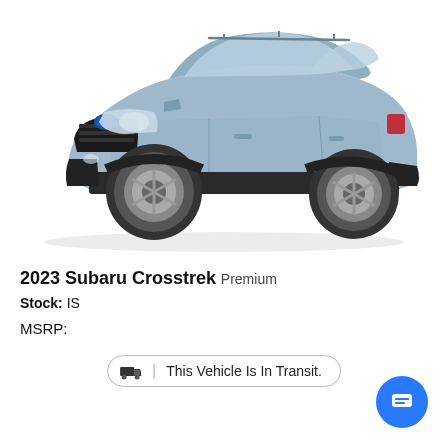[Figure (photo): 2023 Subaru Crosstrek Premium in light blue/silver color, front three-quarter view on white background]
2023 Subaru Crosstrek Premium
Stock: IS
MSRP:
This Vehicle Is In Transit.